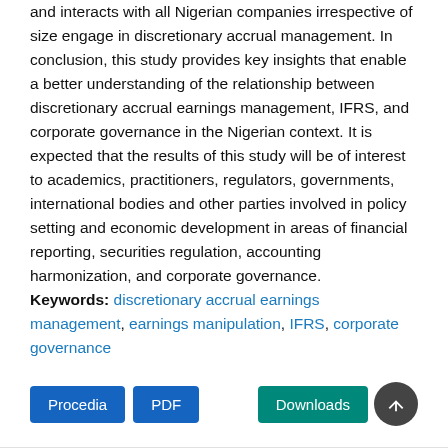and interacts with all Nigerian companies irrespective of size engage in discretionary accrual management. In conclusion, this study provides key insights that enable a better understanding of the relationship between discretionary accrual earnings management, IFRS, and corporate governance in the Nigerian context. It is expected that the results of this study will be of interest to academics, practitioners, regulators, governments, international bodies and other parties involved in policy setting and economic development in areas of financial reporting, securities regulation, accounting harmonization, and corporate governance.
Keywords: discretionary accrual earnings management, earnings manipulation, IFRS, corporate governance